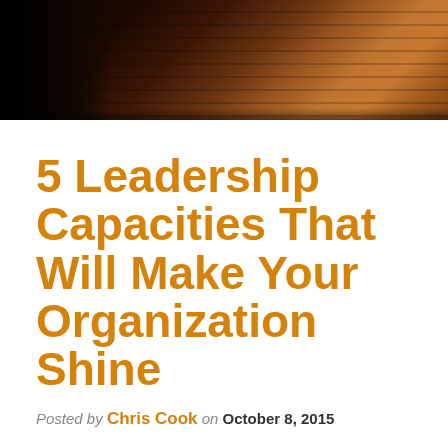[Figure (photo): Dark wooden surface or book cover photo at the top of the page, showing a dark silhouette on the left and wooden grain texture in warm brown tones]
5 Leadership Capacities That Will Make Your Organization Shine
Posted by Chris Cook on October 8, 2015
Want to be energetic? Enthusiastic? Hopeful?